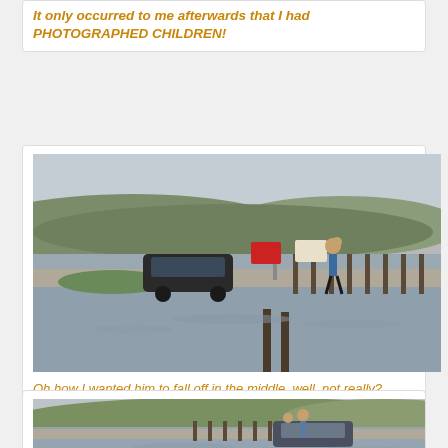It only occurred to me afterwards that I had PHOTOGRAPHED CHILDREN!
[Figure (photo): A flooded road or causeway with a cyclist carrying a child on their back, wading through floodwater. A car is also visible on the flooded road. Hills and water in the background.]
Oh how I wanted him to fall off in the middle, well, not really?
[Figure (photo): Another photo of the flooded causeway, showing a person standing on a car or fence post amid the floodwater, with hills in the background.]